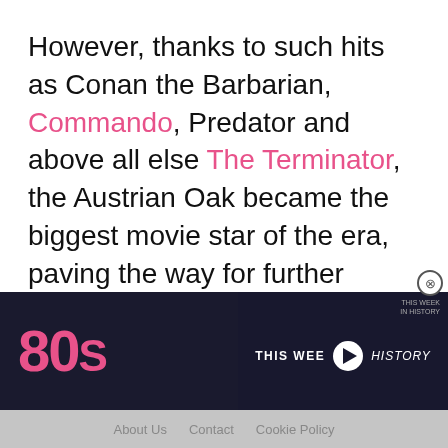However, thanks to such hits as Conan the Barbarian, Commando, Predator and above all else The Terminator, the Austrian Oak became the biggest movie star of the era, paving the way for further blockbuster success in the 90s, before his even more astonishing move into politics as two-time Governor of California
[Figure (screenshot): Bottom section showing a dark navy background with pink bold '80s' logo text on the left, and a video player overlay on the right showing 'THIS WEEK IN HISTORY' with a play button]
About Us   Contact   Cookie Policy